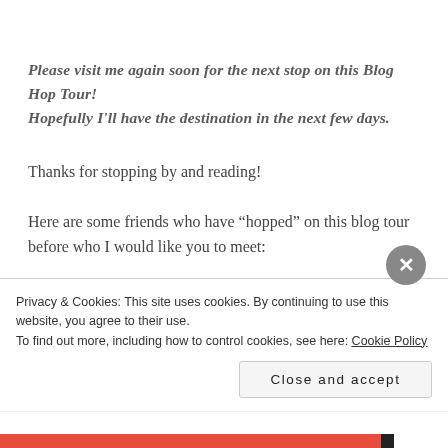Please visit me again soon for the next stop on this Blog Hop Tour! Hopefully I'll have the destination in the next few days.
Thanks for stopping by and reading!
Here are some friends who have “hopped” on this blog tour before who I would like you to meet:
Carole Lehr Johnson “The Teacup Journal”
Privacy & Cookies: This site uses cookies. By continuing to use this website, you agree to their use.
To find out more, including how to control cookies, see here: Cookie Policy
Close and accept